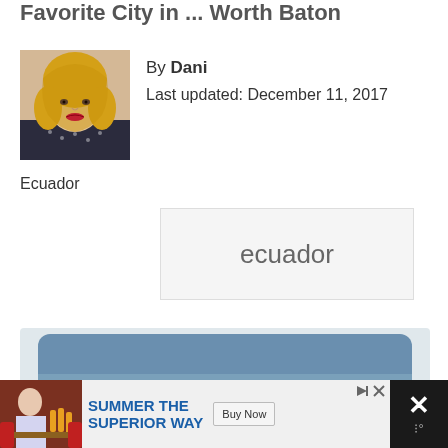Favorite City in ... Worth Baton
[Figure (photo): Author portrait photo of a blonde woman]
By Dani
Last updated: December 11, 2017
Ecuador
[Figure (screenshot): Gray tag/label box with text 'ecuador']
[Figure (photo): Beach scene with ocean waves and sandy shore]
[Figure (screenshot): Advertisement bar: Summer the Superior Way with Buy Now button and close X button]